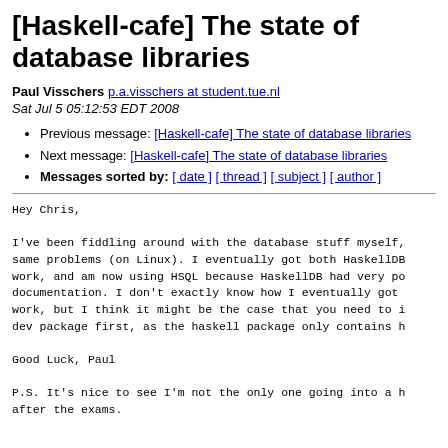[Haskell-cafe] The state of database libraries
Paul Visschers p.a.visschers at student.tue.nl
Sat Jul 5 05:12:53 EDT 2008
Previous message: [Haskell-cafe] The state of database libraries
Next message: [Haskell-cafe] The state of database libraries
Messages sorted by: [ date ] [ thread ] [ subject ] [ author ]
Hey Chris,

I've been fiddling around with the database stuff myself,
same problems (on Linux). I eventually got both HaskellDB
work, and am now using HSQL because HaskellDB had very po
documentation. I don't exactly know how I eventually got
work, but I think it might be the case that you need to i
dev package first, as the haskell package only contains h

Good Luck, Paul

P.S. It's nice to see I'm not the only one going into a h
after the exams.